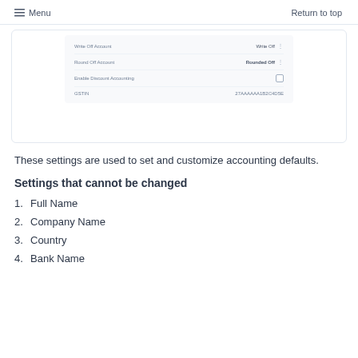Menu   Return to top
[Figure (screenshot): Screenshot of accounting settings form showing fields: Write Off Account (Write Off), Round Off Account (Rounded Off), Enable Discount Accounting (checkbox), GSTIN (27AAAAAA1B2C4D5E)]
These settings are used to set and customize accounting defaults.
Settings that cannot be changed
1. Full Name
2. Company Name
3. Country
4. Bank Name